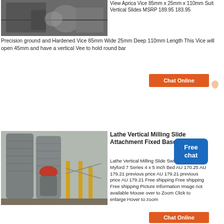[Figure (photo): Industrial machinery equipment photo]
View Aprica Vice 85mm x 25mm x 110mm Suit Vertical Slides MSRP 189.95 183.95
Precision ground and Hardened Vice 85mm Wide 25mm Deep 110mm Length This Vice will open 45mm and have a vertical Vee to hold round bar
Chat Online
[Figure (photo): Industrial silos and milling equipment at a plant facility]
Lathe Vertical Milling Slide Attachment Fixed Base Myford
Lathe Vertical Milling Slide Swivel Base For Myford 7 Series 4 x 5 Inch Bed AU 170.25 AU 179.21 previous price AU 179.21 previous price AU 179.21 Free shipping Free shipping Free shipping Picture Information Image not available Mouse over to Zoom Click to enlarge Hover to zoom
Chat Online